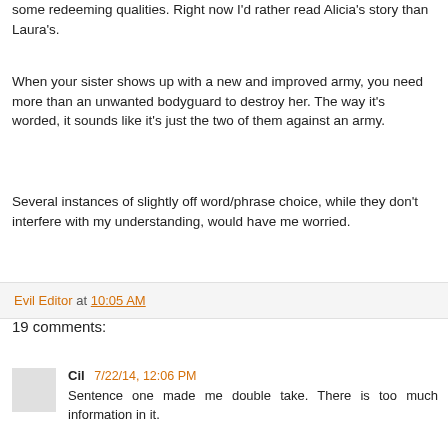some redeeming qualities. Right now I'd rather read Alicia's story than Laura's.
When your sister shows up with a new and improved army, you need more than an unwanted bodyguard to destroy her. The way it's worded, it sounds like it's just the two of them against an army.
Several instances of slightly off word/phrase choice, while they don't interfere with my understanding, would have me worried.
Evil Editor at 10:05 AM
19 comments:
Cil  7/22/14, 12:06 PM
Sentence one made me double take. There is too much information in it.